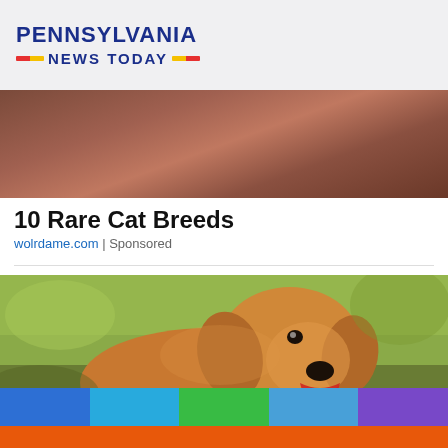[Figure (logo): Pennsylvania News Today logo with blue text and red/yellow dashes]
[Figure (photo): Partial photo showing a dark brown leather or animal surface, cropped]
10 Rare Cat Breeds
wolrdame.com | Sponsored
[Figure (photo): Golden retriever dog with mouth open, tongue out, sitting outdoors with green blurred background. Orange button overlay in bottom right corner.]
[Figure (infographic): Bottom color bar with five colored segments: blue, light blue, green, medium blue, purple. Below is an orange strip.]